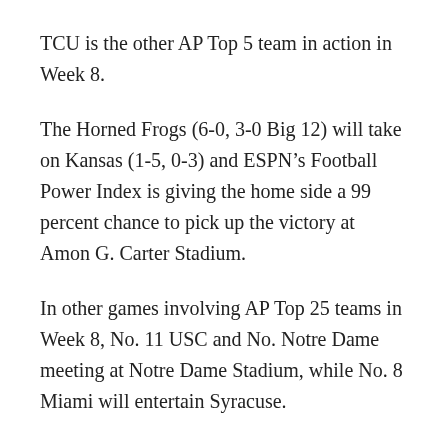TCU is the other AP Top 5 team in action in Week 8.
The Horned Frogs (6-0, 3-0 Big 12) will take on Kansas (1-5, 0-3) and ESPN’s Football Power Index is giving the home side a 99 percent chance to pick up the victory at Amon G. Carter Stadium.
In other games involving AP Top 25 teams in Week 8, No. 11 USC and No. Notre Dame meeting at Notre Dame Stadium, while No. 8 Miami will entertain Syracuse.
College Football Schedule – Week 0
Saturday, Oct. 21, 2017